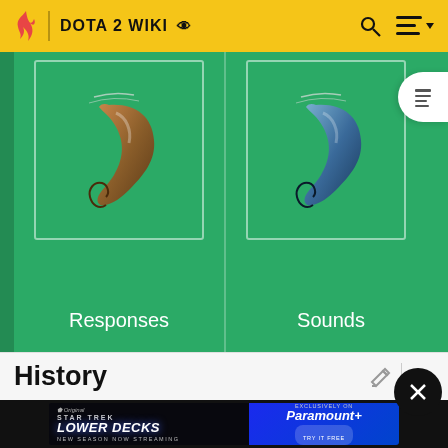DOTA 2 WIKI
[Figure (screenshot): Green background cards showing a brown horn/tusk item labeled Responses and a blue horn/tusk item labeled Sounds, from the DOTA 2 Wiki website]
History
[Figure (screenshot): Advertisement banner for Star Trek Lower Decks New Season Now Streaming, Exclusively on Paramount+, Try It Free]